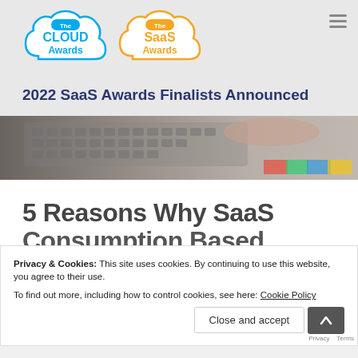[Figure (logo): The Cloud Awards logo — blue cloud shape with 'The CLOUD Awards' text in blue]
[Figure (logo): The SaaS Awards logo — orange cloud shape with 'The SaaS Awards' text in orange]
2022 SaaS Awards Finalists Announced
[Figure (photo): Close-up photo of hands typing on a laptop keyboard with colorful papers in the background]
5 Reasons Why SaaS
Consumption Based
Privacy & Cookies: This site uses cookies. By continuing to use this website, you agree to their use.
To find out more, including how to control cookies, see here: Cookie Policy
Close and accept